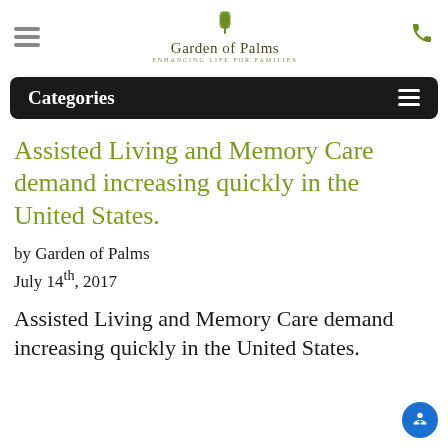Garden of Palms — ENHANCING LIFE FOR FAMILIES
Categories
Assisted Living and Memory Care demand increasing quickly in the United States.
by Garden of Palms
July 14th, 2017
Assisted Living and Memory Care demand increasing quickly in the United States.